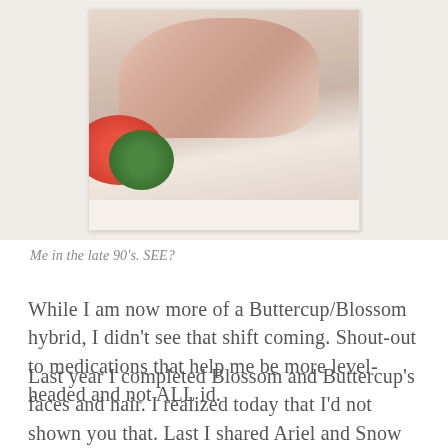[Figure (photo): A Polaroid-style photograph showing a person lying down with skin tones, and a partial view of a green rounded object in the lower left corner.]
Me in the late 90’s. SEE?
While I am now more of a Buttercup/Blossom hybrid, I didn’t see that shift coming. Shout-out to medications that help me be more level-headed and not ALL id.
Last year I completed Blossom and Buttercup’s faces and hair. I realized today that I’d not shown you that. Last I shared Ariel and Snow White were still detached heads, getting